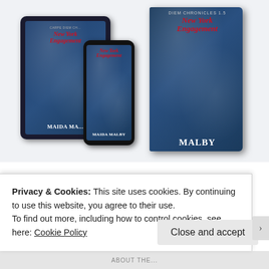[Figure (illustration): Book cover mockup showing 'New York Engagement' by Maida Malby (Carpe Diem Chronicles 1.5) displayed on a tablet, phone, and physical book cover. The covers feature a snowy New York City background with a woman in a red coat and black hat, with the title in red cursive script and author name in white.]
Global City Trust
Privacy & Cookies: This site uses cookies. By continuing to use this website, you agree to their use.
To find out more, including how to control cookies, see here: Cookie Policy
Close and accept